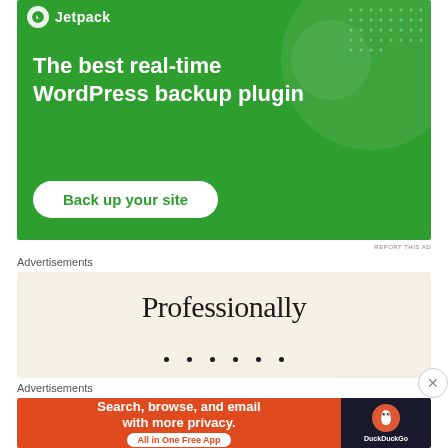[Figure (screenshot): Jetpack WordPress plugin advertisement with green background. Shows Jetpack logo and name at top, large white bold text reading 'The best real-time WordPress backup plugin', and a white rounded button with green text 'Back up your site'. Decorative circles and dot pattern in background.]
REPORT THIS AD
Advertisements
[Figure (screenshot): Advertisement with cream/beige background showing the word 'Professionally' in large serif font with decorative dot pattern below.]
Advertisements
[Figure (screenshot): DuckDuckGo advertisement with orange/red left panel saying 'Search, browse, and email with more privacy.' and 'All in One Free App' button, and dark right panel with DuckDuckGo logo and name.]